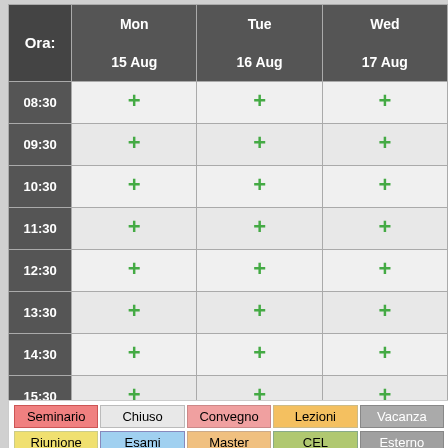| Ora: | Mon
15 Aug | Tue
16 Aug | Wed
17 Aug |
| --- | --- | --- | --- |
| 08:30 | + | + | + |
| 09:30 | + | + | + |
| 10:30 | + | + | + |
| 11:30 | + | + | + |
| 12:30 | + | + | + |
| 13:30 | + | + | + |
| 14:30 | + | + | + |
| 15:30 | + | + | + |
| 16:30 | + | + | + |
| 17:30 | + | + | + |
| 18:30 | + | + | + |
| Seminario | Chiuso | Convegno | Lezioni | Vacanza |
| --- | --- | --- | --- | --- |
| Riunione | Esami | Master | CEL | Esterno |
Vedi Giorno: 09 Aug | 10 Aug | 11 Aug | 12 Aug | 13 Aug | 14 Aug | 15
Vedi Settimana: 18 Jul | 25 Jul | 01 Aug | 08 Aug | 15 Aug | 22 Aug | 2
Vedi Mese: Jun 2016 | Jul 2016 | Aug 2016 | Sep 2016 | Oct 2016 | No